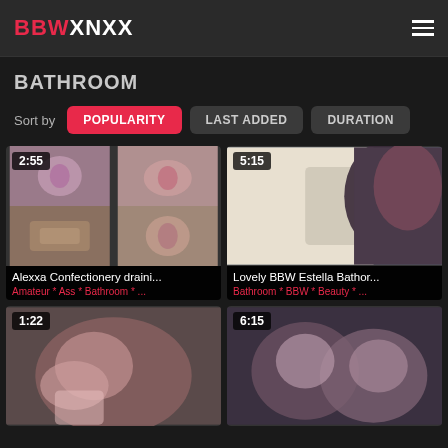BBWXNXX
BATHROOM
Sort by  POPULARITY  LAST ADDED  DURATION
[Figure (screenshot): Video thumbnail grid - 2:55 duration, Alexxa Confectionery draini..., Tags: Amateur * Ass * Bathroom * ...]
[Figure (screenshot): Video thumbnail - 5:15 duration, Lovely BBW Estella Bathor..., Tags: Bathroom * BBW * Beauty * ...]
[Figure (screenshot): Video thumbnail - 1:22 duration, partial view]
[Figure (screenshot): Video thumbnail - 6:15 duration, partial view]